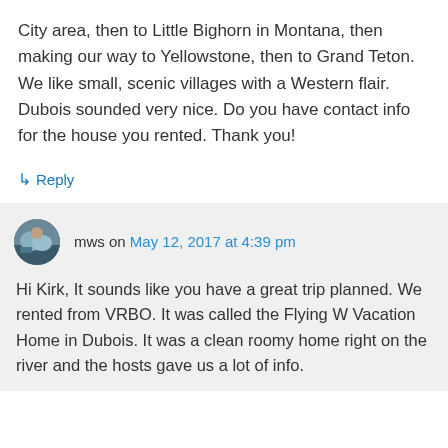City area, then to Little Bighorn in Montana, then making our way to Yellowstone, then to Grand Teton. We like small, scenic villages with a Western flair. Dubois sounded very nice. Do you have contact info for the house you rented. Thank you!
↳ Reply
mws on May 12, 2017 at 4:39 pm
Hi Kirk, It sounds like you have a great trip planned. We rented from VRBO. It was called the Flying W Vacation Home in Dubois. It was a clean roomy home right on the river and the hosts gave us a lot of info.